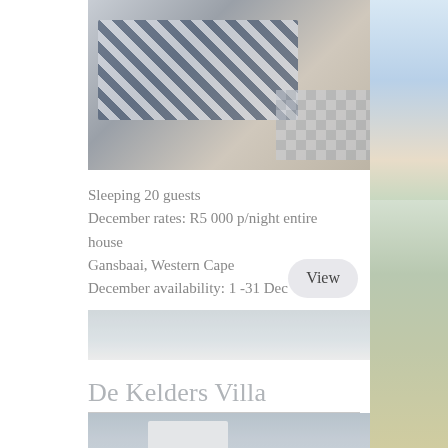[Figure (photo): Interior dining area with dark wood chairs and blue/white checkered tablecloth, with ocean view in background and checkered floor]
Sleeping 20 guests
December rates: R5 000 p/night entire house
Gansbaai, Western Cape
December availability: 1 -31 Dec
[Figure (photo): Partial exterior photo with snowy/sandy ground visible]
De Kelders Villa
[Figure (photo): Exterior of white Cape Dutch style house under clear sky]
[Figure (photo): Right side panel: sky and beach/coastal vegetation]